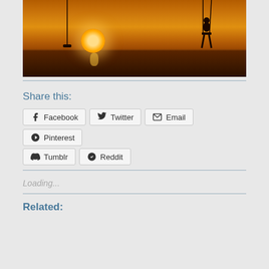[Figure (photo): Silhouette photo of a child on a swing at sunset by the beach, with a golden sun near the horizon and dark ground in the foreground]
Share this:
Facebook  Twitter  Email  Pinterest  Tumblr  Reddit
Loading...
Related: